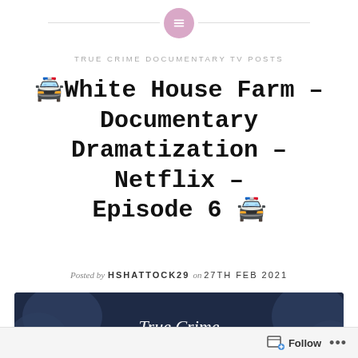TRUE CRIME DOCUMENTARY TV POSTS
🚔White House Farm – Documentary Dramatization – Netflix – Episode 6 🚔
Posted by HSHATTOCK29 on 27TH FEB 2021
[Figure (illustration): Dark navy banner with blob shapes and cursive text reading 'True Crime Documentaries']